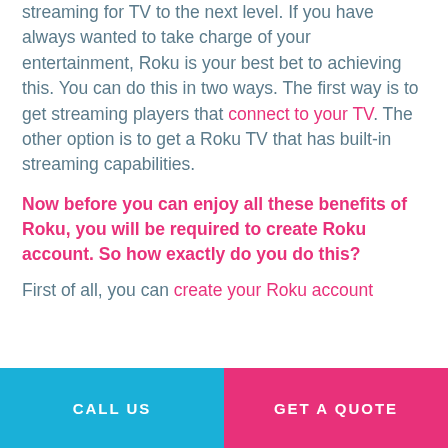streaming for TV to the next level. If you have always wanted to take charge of your entertainment, Roku is your best bet to achieving this. You can do this in two ways. The first way is to get streaming players that connect to your TV. The other option is to get a Roku TV that has built-in streaming capabilities.
Now before you can enjoy all these benefits of Roku, you will be required to create Roku account. So how exactly do you do this?
First of all, you can create your Roku account
CALL US | GET A QUOTE